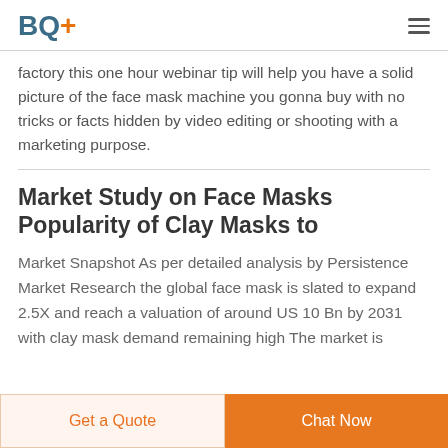BQ+
factory this one hour webinar tip will help you have a solid picture of the face mask machine you gonna buy with no tricks or facts hidden by video editing or shooting with a marketing purpose.
Market Study on Face Masks Popularity of Clay Masks to
Market Snapshot As per detailed analysis by Persistence Market Research the global face mask is slated to expand 2.5X and reach a valuation of around US 10 Bn by 2031 with clay mask demand remaining high The market is